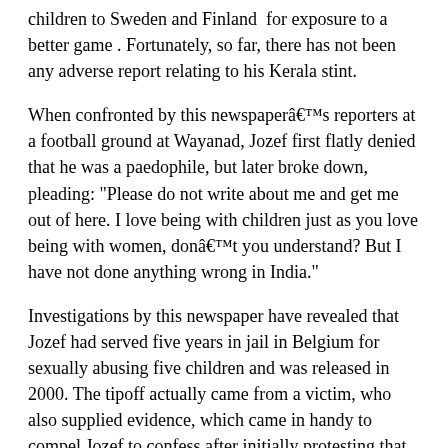children to Sweden and Finland  for exposure to a better game . Fortunately, so far, there has not been any adverse report relating to his Kerala stint.
When confronted by this newspaperâs reporters at a football ground at Wayanad, Jozef first flatly denied that he was a paedophile, but later broke down, pleading: "Please do not write about me and get me out of here. I love being with children just as you love being with women, donât you understand? But I have not done anything wrong in India."
Investigations by this newspaper have revealed that Jozef had served five years in jail in Belgium for sexually abusing five children and was released in 2000. The tipoff actually came from a victim, who also supplied evidence, which came in handy to compel Jozef to confess after initially protesting that the reporters had "got the wrong guy." Once convinced there was no escape from the truth, he buried his head in his hands and broke down, pleading: "I have paid dearly for my sins. My life is finished if my story is published in the newspapers. Please, please donât ruin my life. I love India and its people. I want to continue my association here for very long. I will not harm anyone, so trust me and let me continue my good work here."
Unaware of his antecedents, a football academy with 24 branches